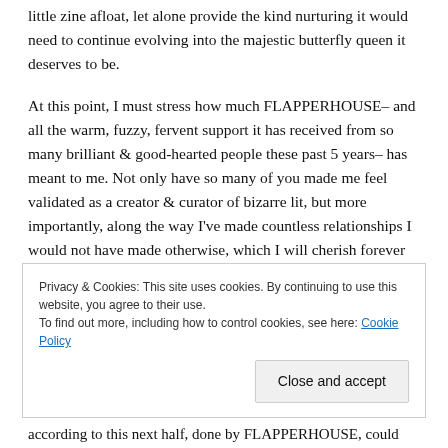little zine afloat, let alone provide the kind nurturing it would need to continue evolving into the majestic butterfly queen it deserves to be.
At this point, I must stress how much FLAPPERHOUSE– and all the warm, fuzzy, fervent support it has received from so many brilliant & good-hearted people these past 5 years– has meant to me. Not only have so many of you made me feel validated as a creator & curator of bizarre lit, but more importantly, along the way I've made countless relationships I would not have made otherwise, which I will cherish forever & continue clinging to as I begin the next phase of my life & career. I am far beyond grateful to
Privacy & Cookies: This site uses cookies. By continuing to use this website, you agree to their use. To find out more, including how to control cookies, see here: Cookie Policy
Close and accept
according to this next half, done by FLAPPERHOUSE, could